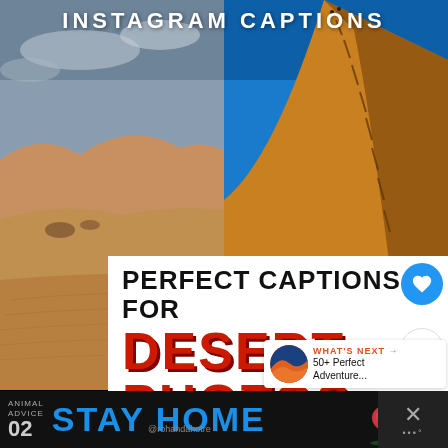INSTAGRAM CAPTIONS
[Figure (photo): Two desert landscape photos side by side. Left: sandy dunes with cloudy sky. Right: steep sand dune ridge under bright blue sky with tiny figures visible at top.]
PERFECT CAPTIONS FOR DESERT PHOTOS
WHAT'S NEXT → 50+ Perfect Adventure...
[Figure (infographic): Animal Advice 02 STAY HOME advertisement banner with mushroom illustration and @rohandahotre handle]
33
@rohandahotre